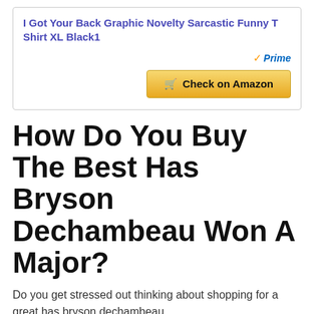[Figure (other): Product card with title 'I Got Your Back Graphic Novelty Sarcastic Funny T Shirt XL Black1', Amazon Prime badge, and 'Check on Amazon' button]
How Do You Buy The Best Has Bryson Dechambeau Won A Major?
Do you get stressed out thinking about shopping for a great has bryson dechambeau